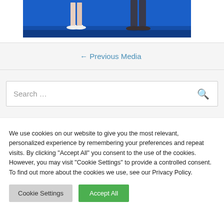[Figure (photo): A stage photo showing the lower portions of two people's legs and feet on a blue-lit stage. One person wears light-colored heels, the other dark shoes.]
← Previous Media
Search ...
We use cookies on our website to give you the most relevant, personalized experience by remembering your preferences and repeat visits. By clicking "Accept All" you consent to the use of the cookies. However, you may visit "Cookie Settings" to provide a controlled consent. To find out more about the cookies we use, see our Privacy Policy.
Cookie Settings
Accept All